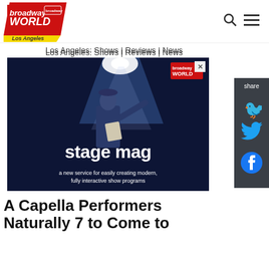[Figure (logo): BroadwayWorld Los Angeles logo - red diagonal banner with text broadway WORLD and Los Angeles subtitle]
Los Angeles: Shows | Reviews | News
[Figure (photo): Stage Mag advertisement - person on stage with spotlight, holding papers, text reads 'stage mag - a new service for easily creating modern, fully interactive show programs']
A Capella Performers Naturally 7 to Come to